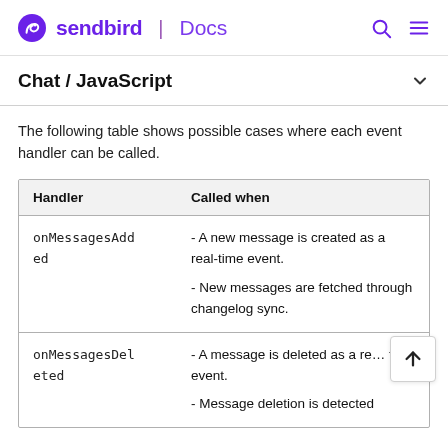sendbird | Docs
Chat / JavaScript
The following table shows possible cases where each event handler can be called.
| Handler | Called when |
| --- | --- |
| onMessagesAdded | - A new message is created as a real-time event.
- New messages are fetched through changelog sync. |
| onMessagesDeleted | - A message is deleted as a real-time event.
- Message deletion is detected |